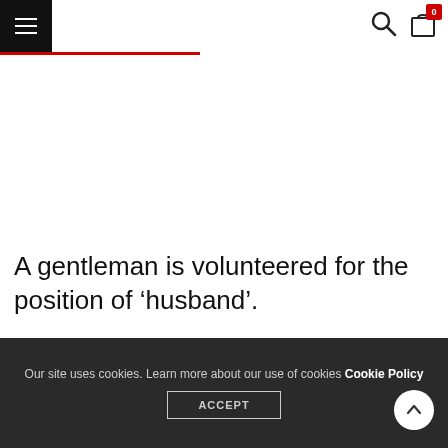Navigation header with hamburger menu, search icon, and shopping bag icon with badge 0
A gentleman is volunteered for the position of ‘husband’.
Our site uses cookies. Learn more about our use of cookies Cookie Policy ACCEPT